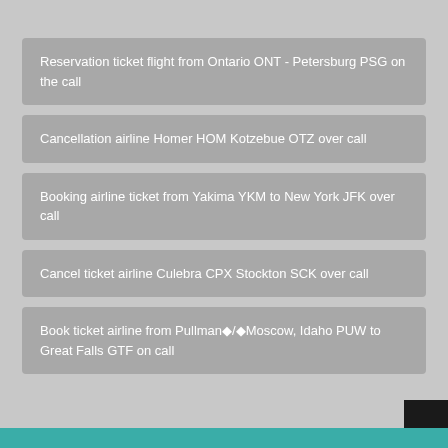Reservation ticket flight from Ontario ONT - Petersburg PSG on the call
Cancellation airline Homer HOM Kotzebue OTZ over call
Booking airline ticket from Yakima YKM to New York JFK over call
Cancel ticket airline Culebra CPX Stockton SCK over call
Book ticket airline from Pullman◆/◆Moscow, Idaho PUW to Great Falls GTF on call